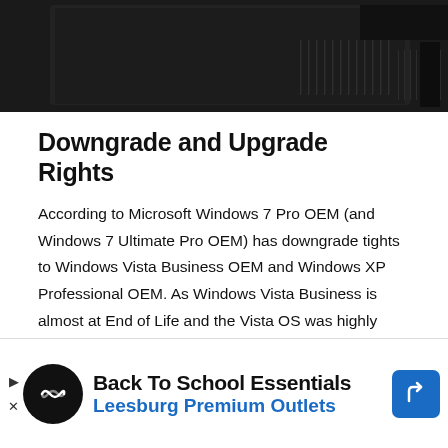[Figure (photo): Dark computer tower/desktop PC case showing vents and dark surface from above, photographed against dark background]
Downgrade and Upgrade Rights
According to Microsoft Windows 7 Pro OEM (and Windows 7 Ultimate Pro OEM) has downgrade tights to Windows Vista Business OEM and Windows XP Professional OEM. As Windows Vista Business is almost at End of Life and the Vista OS was highly unpopular its assumed no-one wants to Downgrade to Windows Vista Business OEM. Many also want to...
Privacy & Cookies: This site uses cookies. By continuing to use this website, you agree to their use.
To find out more, including how to control cookies, see here: Cookie Policy
[Figure (screenshot): Advertisement banner for Back To School Essentials - Leesburg Premium Outlets with logo and navigation icon]